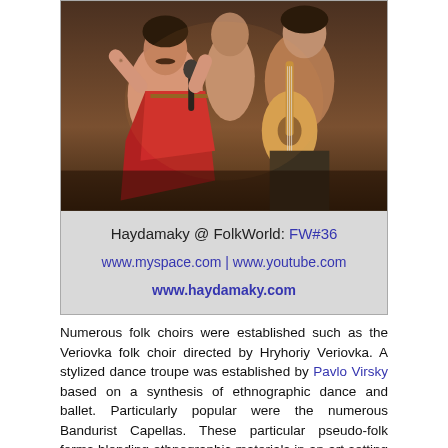[Figure (photo): Concert performance photo showing musicians and performers on stage, one person in a red outfit singing into a microphone, others playing guitar]
Haydamaky @ FolkWorld: FW#36
www.myspace.com | www.youtube.com
www.haydamaky.com
Numerous folk choirs were established such as the Veriovka folk choir directed by Hryhoriy Veriovka. A stylized dance troupe was established by Pavlo Virsky based on a synthesis of ethnographic dance and ballet. Particularly popular were the numerous Bandurist Capellas. These particular pseudo-folk forms blending ethnographic materials in an art setting have also become popular in the Ukrainian diaspora in North America.
Traditional music and the Bandura